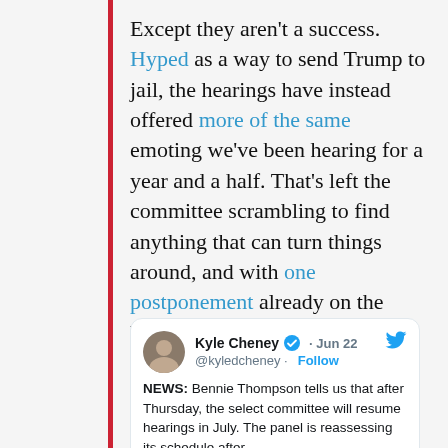Except they aren't a success. Hyped as a way to send Trump to jail, the hearings have instead offered more of the same emoting we've been hearing for a year and a half. That's left the committee scrambling to find anything that can turn things around, and with one postponement already on the books, the hearings are now being pushed off until after the July 4th recess.
[Figure (screenshot): Embedded tweet from @kyledcheney (Kyle Cheney, verified) dated Jun 22: NEWS: Bennie Thompson tells us that after Thursday, the select committee will resume hearings in July. The panel is reassessing its schedule after]